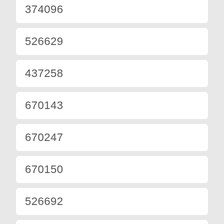374096
526629
437258
670143
670247
670150
526692
526685
437039